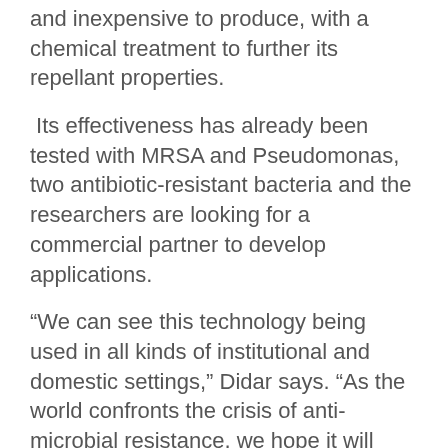and inexpensive to produce, with a chemical treatment to further its repellant properties.
Its effectiveness has already been tested with MRSA and Pseudomonas, two antibiotic-resistant bacteria and the researchers are looking for a commercial partner to develop applications.
“We can see this technology being used in all kinds of institutional and domestic settings,” Didar says. “As the world confronts the crisis of anti-microbial resistance, we hope it will become an important part of the anti-bacterial toolbox.”